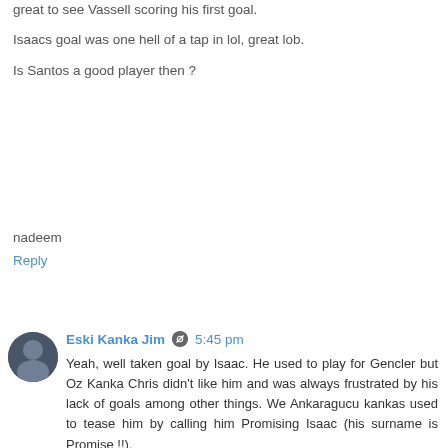great to see Vassell scoring his first goal.
Isaacs goal was one hell of a tap in lol, great lob.
Is Santos a good player then ?
nadeem
Reply
Eski Kanka Jim  5:45 pm
Yeah, well taken goal by Isaac. He used to play for Gencler but Oz Kanka Chris didn't like him and was always frustrated by his lack of goals among other things. We Ankaragucu kankas used to tease him by calling him Promising Isaac (his surname is Promise!!).
Gencler transferred him to Trabzon last season and now he ends up in Manisa to do 'the dirty' to us .... grrrrrrr !